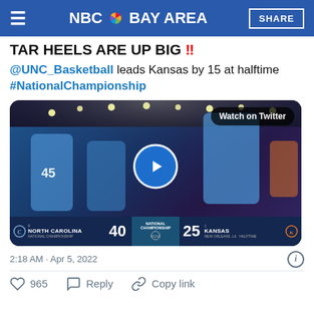NBC Bay Area | SHARE
TAR HEELS ARE UP BIG ‼️
@UNC_Basketball leads Kansas by 15 at halftime #NationalChampionship
[Figure (screenshot): Video thumbnail showing UNC North Carolina basketball players running on court. Scoreboard shows NORTH CAROLINA 40, KANSAS 25, NATIONAL CHAMPIONSHIP, NEW ORLEANS, LA, HALFTIME. Watch on Twitter button visible with play button overlay.]
2:18 AM · Apr 5, 2022
965  Reply  Copy link